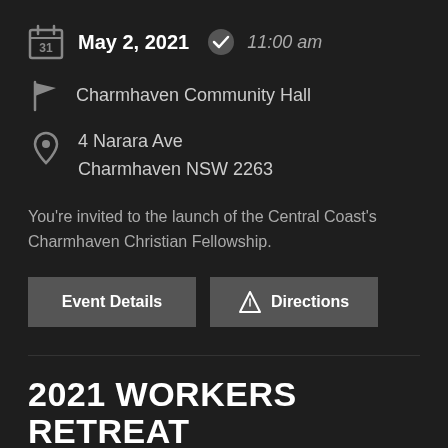May 2, 2021   11:00 am
Charmhaven Community Hall
4 Narara Ave
Charmhaven NSW 2263
You're invited to the launch of the Central Coast's Charmhaven Christian Fellowship.
Event Details
Directions
2021 WORKERS RETREAT
April 24, 2021   10:00 am – 4:00 pm